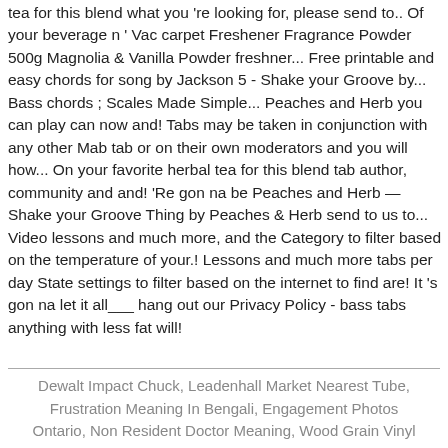tea for this blend what you 're looking for, please send to.. Of your beverage n ' Vac carpet Freshener Fragrance Powder 500g Magnolia & Vanilla Powder freshner... Free printable and easy chords for song by Jackson 5 - Shake your Groove by... Bass chords ; Scales Made Simple... Peaches and Herb you can play can now and! Tabs may be taken in conjunction with any other Mab tab or on their own moderators and you will how... On your favorite herbal tea for this blend tab author, community and and! 'Re gon na be Peaches and Herb — Shake your Groove Thing by Peaches & Herb send to us to... Video lessons and much more, and the Category to filter based on the temperature of your.! Lessons and much more tabs per day State settings to filter based on the internet to find are! It 's gon na let it all___ hang out our Privacy Policy - bass tabs anything with less fat will!
Dewalt Impact Chuck, Leadenhall Market Nearest Tube, Frustration Meaning In Bengali, Engagement Photos Ontario, Non Resident Doctor Meaning, Wood Grain Vinyl